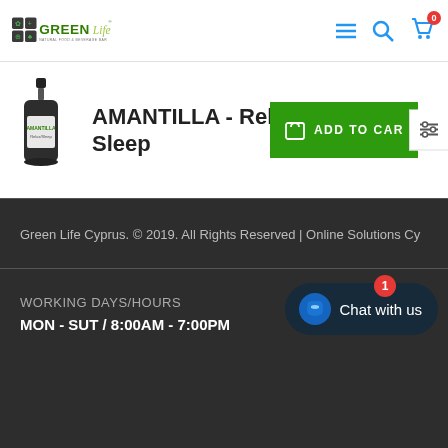[Figure (logo): Green Life Natural Food & Beverage Bar logo with green text and icon]
AMANTILLA - Relax / Sleep
[Figure (photo): Product bottle - small dark dropper bottle]
ADD TO CART
Green Life Cyprus. © 2019. All Rights Reserved | Online Solutions Cy
WORKING DAYS/HOURS
MON - SUT / 8:00AM - 7:00PM
[Figure (other): Chat with us widget button with badge showing 1]